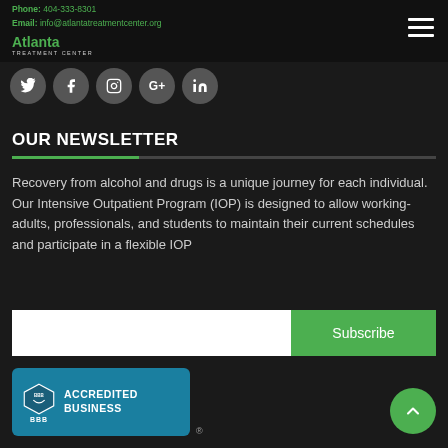Phone: 404-333-8301
Email: info@atlantatreatmentcenter.org
[Figure (logo): Atlanta Treatment Center logo with green text and white subtext]
[Figure (other): Social media icons row: Twitter, Facebook, Instagram, Google+, LinkedIn]
OUR NEWSLETTER
Recovery from alcohol and drugs is a unique journey for each individual. Our Intensive Outpatient Program (IOP) is designed to allow working-adults, professionals, and students to maintain their current schedules and participate in a flexible IOP
[Figure (other): Newsletter subscribe form with white input field and green Subscribe button]
[Figure (logo): BBB Accredited Business badge in teal/blue with BBB shield logo]